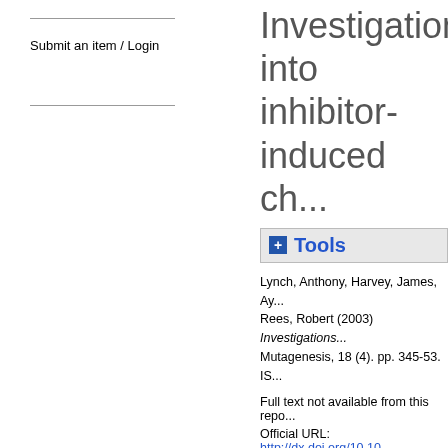Submit an item / Login
Investigations into inhibitor-induced ch...
+ Tools
Lynch, Anthony, Harvey, James, Ay... Rees, Robert (2003) Investigations... Mutagenesis, 18 (4). pp. 345-53. IS...
Full text not available from this repo...
Official URL: http://dx.doi.org/10.10...
Abstract
Although the application of the con... evidence for the existence of thresh... topoisomerase inhibitors is believed... the catalytic cycle. This leads to the... of a DNA strand break. This indirec... drug. Using micronucleus induction... was used to examine whether the c... inhibitors in vitro. This involved (i) t... scoring up to 10,000 cells/treatmen... and (iii) statistical modelling of the ...